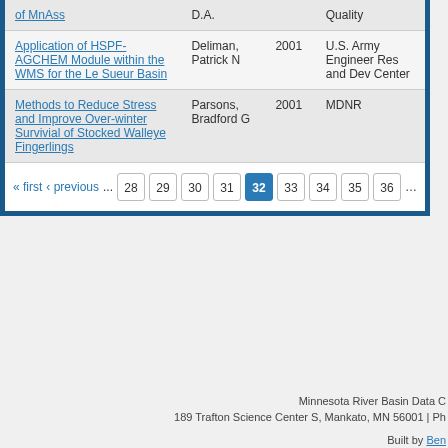| Title | Author | Year | Source |
| --- | --- | --- | --- |
| [partial - of MnAss] | D.A. |  | Quality |
| Application of HSPF-AGCHEM Module within the WMS for the Le Sueur Basin | Deliman, Patrick N | 2001 | U.S. Army Engineer Res and Dev Center |
| Methods to Reduce Stress and Improve Over-winter Survivial of Stocked Walleye Fingerlings | Parsons, Bradford G | 2001 | MDNR |
« first ‹ previous ... 28 29 30 31 32 33 34 35 36 ...
Minnesota River Basin Data C... 189 Trafton Science Center S, Mankato, MN 56001 | Ph... Built by Ben...